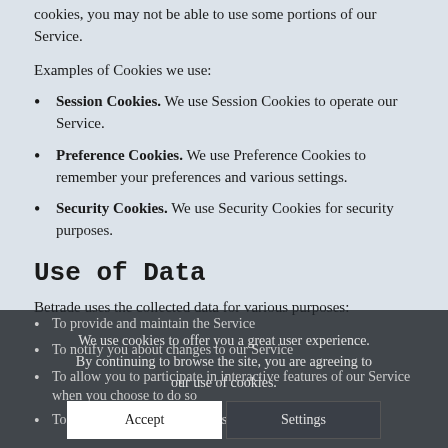cookies, you may not be able to use some portions of our Service.
Examples of Cookies we use:
Session Cookies. We use Session Cookies to operate our Service.
Preference Cookies. We use Preference Cookies to remember your preferences and various settings.
Security Cookies. We use Security Cookies for security purposes.
Use of Data
Betrade uses the collected data for various purposes:
To provide and maintain the Service
To notify you about changes to our Service
To allow you to participate in interactive features of our Service when you choose to do so
To provide customer care and support
We use cookies to offer you a great user experience. By continuing to browse the site, you are agreeing to our use of cookies.
Accept | Settings